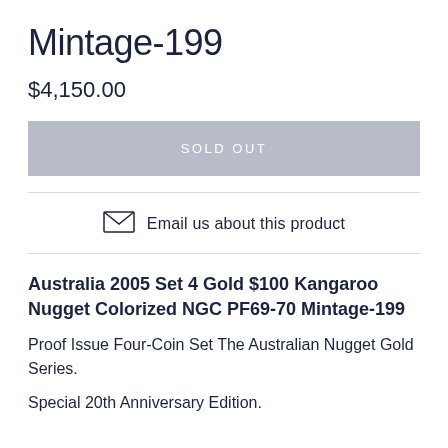Mintage-199
$4,150.00
SOLD OUT
Email us about this product
Australia 2005 Set 4 Gold $100 Kangaroo Nugget Colorized NGC PF69-70 Mintage-199
Proof Issue Four-Coin Set The Australian Nugget Gold Series.
Special 20th Anniversary Edition.